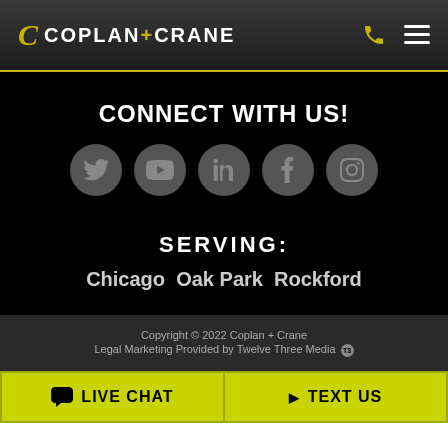COPLAN+CRANE
CONNECT WITH US!
[Figure (infographic): Five social media icons in gray circles: Twitter, YouTube, LinkedIn, Facebook, Instagram]
SERVING:
Chicago  Oak Park  Rockford
Copyright © 2022 Coplan + Crane
Legal Marketing Provided by Twelve Three Media
LIVE CHAT
TEXT US